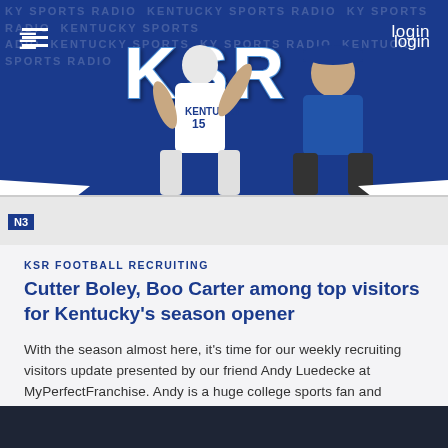[Figure (screenshot): KSR sports radio website header banner with basketball player wearing Kentucky #15 jersey and a coach figure, on blue background with KSR logo and navigation]
KSR  login
KSR FOOTBALL RECRUITING
Cutter Boley, Boo Carter among top visitors for Kentucky's season opener
With the season almost here, it's time for our weekly recruiting visitors update presented by our friend Andy Luedecke at MyPerfectFranchise. Andy is a huge college sports fan and franchise veteran, having owned multiple franchises and businesses....
READ NOW
Zack Geoghegan • about 6 hours